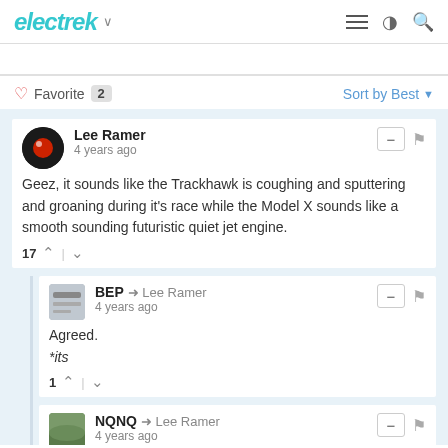electrek
Favorite 2   Sort by Best
Lee Ramer
4 years ago
Geez, it sounds like the Trackhawk is coughing and sputtering and groaning during it's race while the Model X sounds like a smooth sounding futuristic quiet jet engine.
17
BEP → Lee Ramer
4 years ago
Agreed.
*its
1
NQNQ → Lee Ramer
4 years ago
And at about 8:10 in the video, he even mentions that the Trackhawk was getting hot. So it couldn't beat the Model X